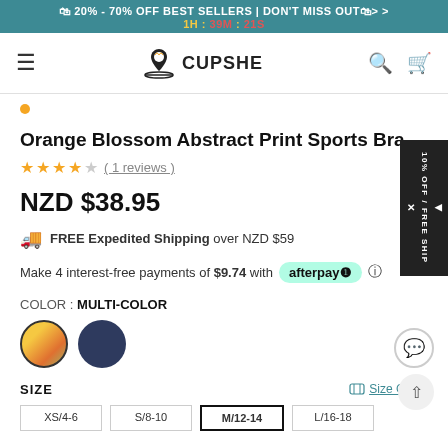🛍 20% - 70% OFF BEST SELLERS | DON'T MISS OUT🛍> > 1H : 39M : 21S
[Figure (logo): Cupshe brand logo with palm tree icon]
Orange Blossom Abstract Print Sports Bra
★★★★☆ ( 1 reviews )
NZD $38.95
FREE Expedited Shipping over NZD $59
Make 4 interest-free payments of $9.74 with afterpay
COLOR : MULTI-COLOR
[Figure (other): Two color swatches: multi-color (orange/yellow) and navy blue]
SIZE
Size Guide
XS/4-6  S/8-10  M/12-14  L/16-18